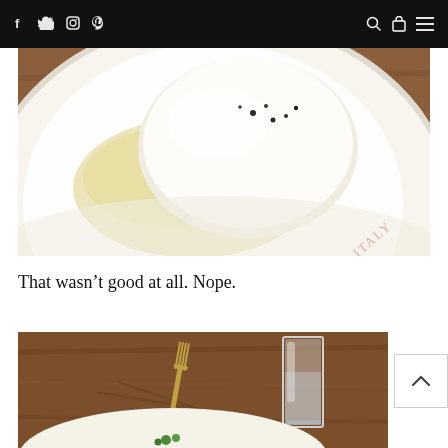Navigation bar with social icons (f, twitter, instagram, pinterest) and search, bag, menu icons
[Figure (photo): Close-up photo of a white ceramic plate with mozzarella or burrata cheese drizzled with olive oil and black pepper, on a wooden table. Partial text 'ITALY' visible on plate rim.]
That wasn’t good at all. Nope.
[Figure (photo): Photo of a wooden table with a fork, a glass of water, and a white plate partially visible at the bottom with a green garnish.]